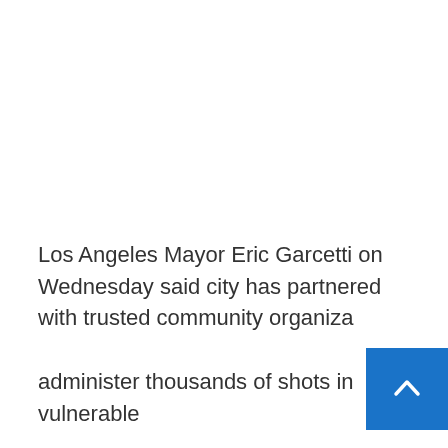Los Angeles Mayor Eric Garcetti on Wednesday said city has partnered with trusted community organizations to administer thousands of shots in vulnerable